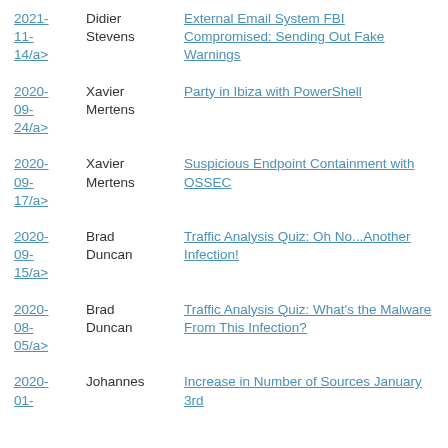2021-11-14/a> | Didier Stevens | External Email System FBI Compromised: Sending Out Fake Warnings
2020-09-24/a> | Xavier Mertens | Party in Ibiza with PowerShell
2020-09-17/a> | Xavier Mertens | Suspicious Endpoint Containment with OSSEC
2020-09-15/a> | Brad Duncan | Traffic Analysis Quiz: Oh No...Another Infection!
2020-08-05/a> | Brad Duncan | Traffic Analysis Quiz: What's the Malware From This Infection?
2020-01-... | Johannes | Increase in Number of Sources January 3rd